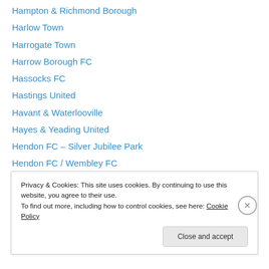Hampton & Richmond Borough
Harlow Town
Harrogate Town
Harrow Borough FC
Hassocks FC
Hastings United
Havant & Waterlooville
Hayes & Yeading United
Hendon FC – Silver Jubilee Park
Hendon FC / Wembley FC
Herne Bay FC
Heybridge Swifts FC
Histon
Privacy & Cookies: This site uses cookies. By continuing to use this website, you agree to their use. To find out more, including how to control cookies, see here: Cookie Policy